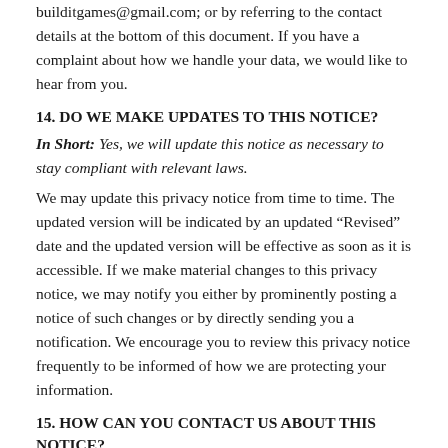builditgames@gmail.com; or by referring to the contact details at the bottom of this document. If you have a complaint about how we handle your data, we would like to hear from you.
14. DO WE MAKE UPDATES TO THIS NOTICE?
In Short:   Yes, we will update this notice as necessary to stay compliant with relevant laws.
We may update this privacy notice from time to time. The updated version will be indicated by an updated “Revised” date and the updated version will be effective as soon as it is accessible. If we make material changes to this privacy notice, we may notify you either by prominently posting a notice of such changes or by directly sending you a notification. We encourage you to review this privacy notice frequently to be informed of how we are protecting your information.
15. HOW CAN YOU CONTACT US ABOUT THIS NOTICE?
If you have questions or comments about this notice, you may email us at builditgames@gmail.com or by post to:
Build it Games